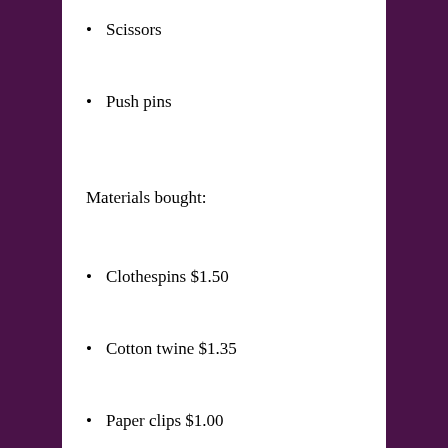Scissors
Push pins
Materials bought:
Clothespins $1.50
Cotton twine $1.35
Paper clips $1.00